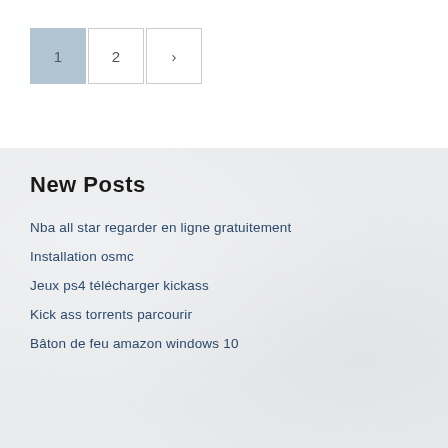1
2
>
New Posts
Nba all star regarder en ligne gratuitement
Installation osmc
Jeux ps4 télécharger kickass
Kick ass torrents parcourir
Bâton de feu amazon windows 10